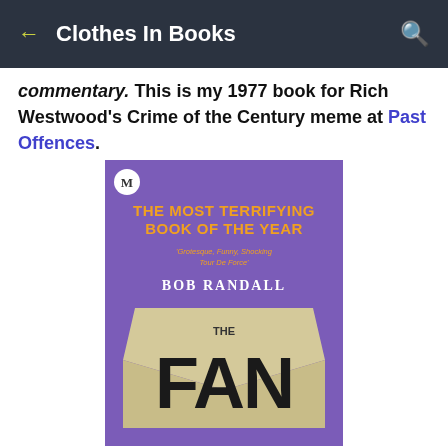← Clothes In Books 🔍
commentary. This is my 1977 book for Rich Westwood's Crime of the Century meme at Past Offences.
[Figure (photo): Book cover of 'The Fan' by Bob Randall. Purple background with orange text reading 'THE MOST TERRIFYING BOOK OF THE YEAR'. Subtitle in orange italic: 'Grotesque, Funny, Shocking Tour de Force'. Author name 'BOB RANDALL' in white. Large stylized text 'THE FAN' formed by what appears to be a folded fabric or letter shape, with red blood visible at the bottom.]